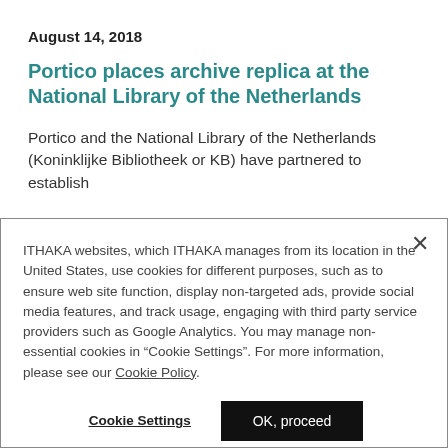August 14, 2018
Portico places archive replica at the National Library of the Netherlands
Portico and the National Library of the Netherlands (Koninklijke Bibliotheek or KB) have partnered to establish
ITHAKA websites, which ITHAKA manages from its location in the United States, use cookies for different purposes, such as to ensure web site function, display non-targeted ads, provide social media features, and track usage, engaging with third party service providers such as Google Analytics. You may manage non-essential cookies in “Cookie Settings”. For more information, please see our Cookie Policy.
Cookie Settings
OK, proceed